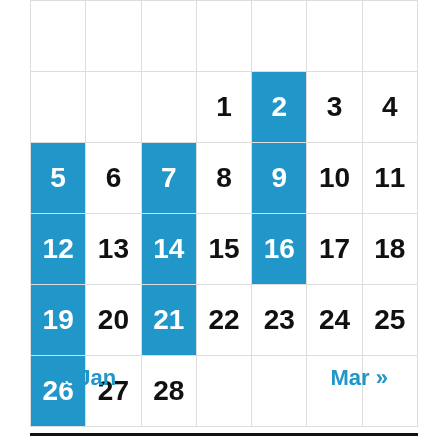| Sun | Mon | Tue | Wed | Thu | Fri | Sat |
| --- | --- | --- | --- | --- | --- | --- |
|  |  |  |  | 1 | 2 | 3 | 4 |
| 5 | 6 | 7 | 8 | 9 | 10 | 11 |
| 12 | 13 | 14 | 15 | 16 | 17 | 18 |
| 19 | 20 | 21 | 22 | 23 | 24 | 25 |
| 26 | 27 | 28 |  |  |  |  |
« Jan
Mar »